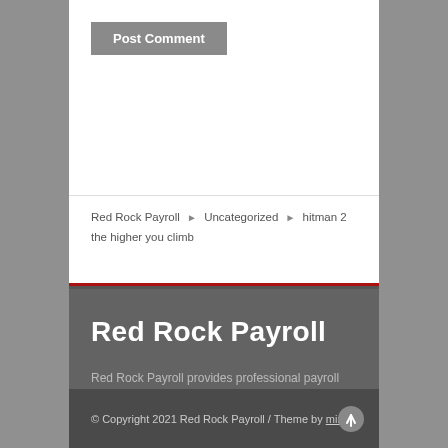Post Comment
Red Rock Payroll ▶ Uncategorized ▶ hitman 2 the higher you climb
Red Rock Payroll
Red Rock Payroll provides professional payroll services to help your business simplify, save, and succeed
© Copyright 2021 Red Rock Payroll / Theme by minti